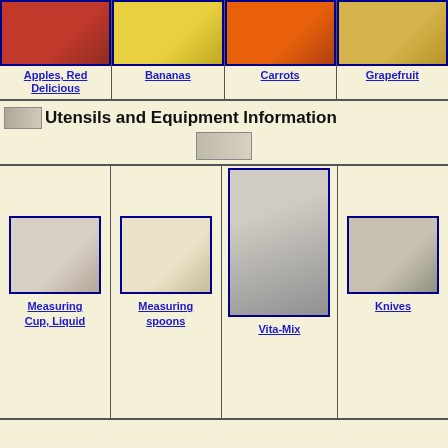[Figure (photo): Apples Red Delicious - product image with blue border]
Apples, Red Delicious
[Figure (photo): Bananas - product image with blue border]
Bananas
[Figure (photo): Carrots - product image with blue border]
Carrots
[Figure (photo): Grapefruit - product image with blue border]
Grapefruit
Utensils and Equipment Information
[Figure (photo): Small icon of measuring spoons]
[Figure (photo): Measuring Cup Liquid - with blue border]
Measuring Cup, Liquid
[Figure (photo): Measuring spoons - with blue border]
Measuring spoons
[Figure (photo): Vita-Mix blender - with blue border]
Vita-Mix
[Figure (photo): Knives - with blue border]
Knives